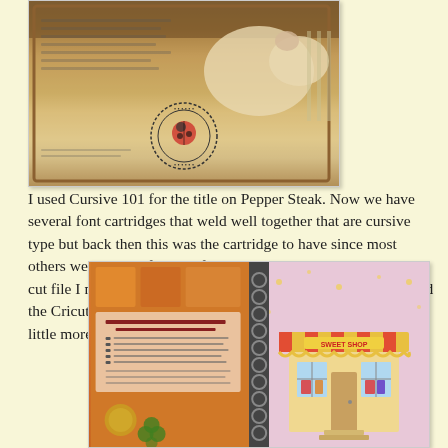[Figure (photo): Photo of a handmade craft book/scrapbook page showing a pig cutout and a circular stamp design with ladybug, brown and tan colors]
I used Cursive 101 for the title on Pepper Steak. Now we have several font cartridges that weld well together that are cursive type but back then this was the cartridge to have since most others were more of a print font. The bell pepper is an original cut file I made. The little pig is from Animal Kingdom and I used the Cricut markers to help outline the little pig so he stood out a little more.
[Figure (photo): Photo of an open handmade recipe book showing a left page with recipe text and orange/red decorations, a spiral spine in the middle, and a right pink page featuring a candy shop building illustration]